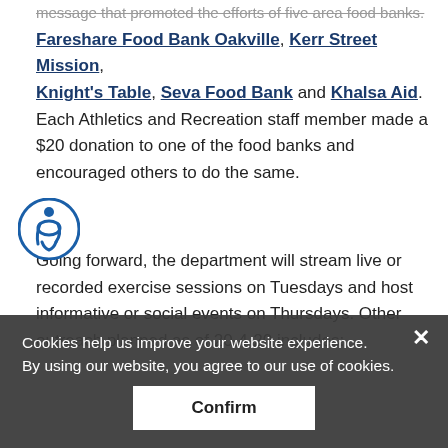message that promoted the efforts of five area food banks: Fareshare Food Bank Oakville, Kerr Street Mission, Knight's Table, Seva Food Bank and Khalsa Aid. Each Athletics and Recreation staff member made a $20 donation to one of the food banks and encouraged others to do the same.
Going forward, the department will stream live or recorded exercise sessions on Tuesdays and host informative or social events on Thursdays. Other outreach planned as of 20-4-20 includes:
live boot camps on Facebook Live, hosted by Facility Co-ordinator Mostafa Babouli
the launch of a Sheridan Run Club, including an eight-week challenge
E-sport tournaments (NBA 2K and Super Smash
Cookies help us improve your website experience.
By using our website, you agree to our use of cookies.
Confirm